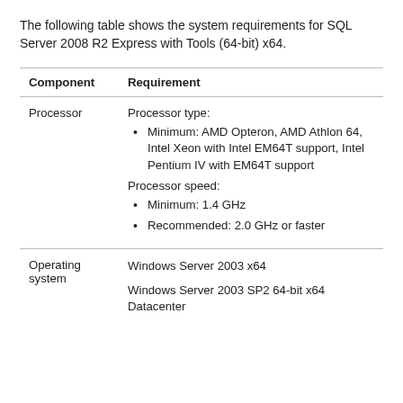The following table shows the system requirements for SQL Server 2008 R2 Express with Tools (64-bit) x64.
| Component | Requirement |
| --- | --- |
| Processor | Processor type:
• Minimum: AMD Opteron, AMD Athlon 64, Intel Xeon with Intel EM64T support, Intel Pentium IV with EM64T support
Processor speed:
• Minimum: 1.4 GHz
• Recommended: 2.0 GHz or faster |
| Operating system | Windows Server 2003 x64

Windows Server 2003 SP2 64-bit x64 Datacenter |